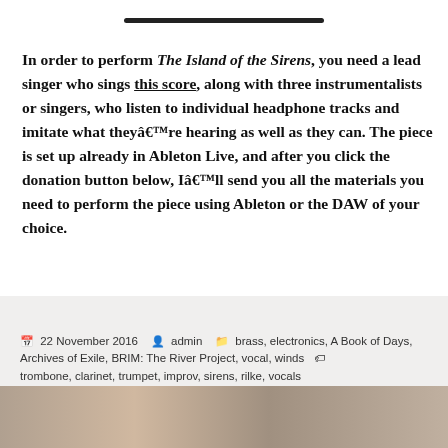In order to perform The Island of the Sirens, you need a lead singer who sings this score, along with three instrumentalists or singers, who listen to individual headphone tracks and imitate what theyâ€™re hearing as well as they can. The piece is set up already in Ableton Live, and after you click the donation button below, Iâ€™ll send you all the materials you need to perform the piece using Ableton or the DAW of your choice.
[Figure (other): Buy Now button - yellow rounded rectangle button with bold text]
22 November 2016  admin  brass, electronics, A Book of Days, Archives of Exile, BRIM: The River Project, vocal, winds  trombone, clarinet, trumpet, improv, sirens, rilke, vocals